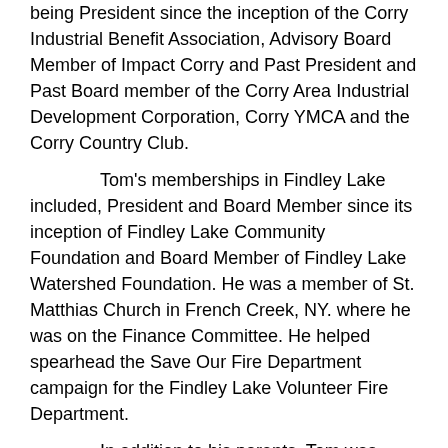being President since the inception of the Corry Industrial Benefit Association, Advisory Board Member of Impact Corry and Past President and Past Board member of the Corry Area Industrial Development Corporation, Corry YMCA and the Corry Country Club.
Tom's memberships in Findley Lake included, President and Board Member since its inception of Findley Lake Community Foundation and Board Member of Findley Lake Watershed Foundation. He was a member of St. Matthias Church in French Creek, NY. where he was on the Finance Committee. He helped spearhead the Save Our Fire Department campaign for the Findley Lake Volunteer Fire Department.
In addition to his parents, Tom was preceded in death by his sister, Norella Teresa “Terry” Roche.
Tom is survived by his wife of 32 years, Nancy M. Bracken Roche; three daughters, Tracie Setliff of Milwaukee, WI.; Alexis Roche McNamara and her husband Will of Sommenville, MA